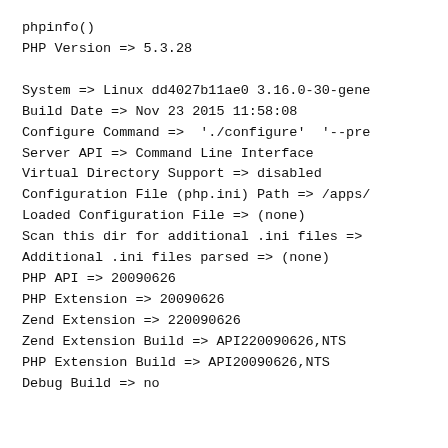phpinfo()
PHP Version => 5.3.28

System => Linux dd4027b11ae0 3.16.0-30-gene
Build Date => Nov 23 2015 11:58:08
Configure Command =>  './configure'  '--pre
Server API => Command Line Interface
Virtual Directory Support => disabled
Configuration File (php.ini) Path => /apps/
Loaded Configuration File => (none)
Scan this dir for additional .ini files =>
Additional .ini files parsed => (none)
PHP API => 20090626
PHP Extension => 20090626
Zend Extension => 220090626
Zend Extension Build => API220090626,NTS
PHP Extension Build => API20090626,NTS
Debug Build => no